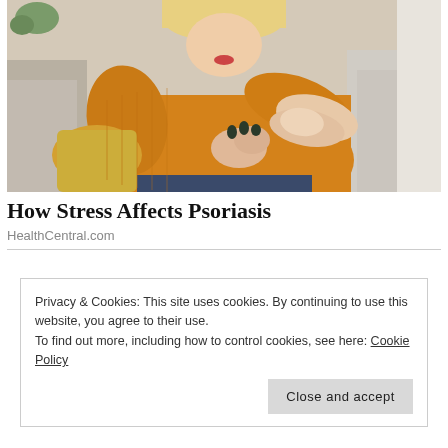[Figure (photo): Woman in a yellow/mustard knit sweater sitting on a couch, scratching or examining her elbow/arm skin, suggesting psoriasis symptoms. Background shows grey sofa cushions and a light interior.]
How Stress Affects Psoriasis
HealthCentral.com
Privacy & Cookies: This site uses cookies. By continuing to use this website, you agree to their use.
To find out more, including how to control cookies, see here: Cookie Policy
Close and accept